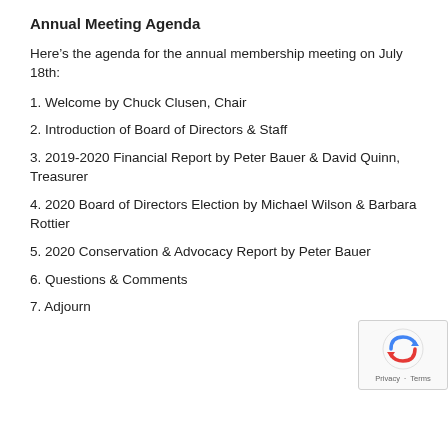Annual Meeting Agenda
Here’s the agenda for the annual membership meeting on July 18th:
1. Welcome by Chuck Clusen, Chair
2. Introduction of Board of Directors & Staff
3. 2019-2020 Financial Report by Peter Bauer & David Quinn, Treasurer
4. 2020 Board of Directors Election by Michael Wilson & Barbara Rottier
5. 2020 Conservation & Advocacy Report by Peter Bauer
6. Questions & Comments
7. Adjourn